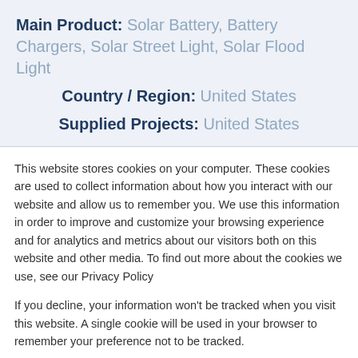Main Product: Solar Battery, Battery Chargers, Solar Street Light, Solar Flood Light
Country / Region: United States
Supplied Projects: United States
This website stores cookies on your computer. These cookies are used to collect information about how you interact with our website and allow us to remember you. We use this information in order to improve and customize your browsing experience and for analytics and metrics about our visitors both on this website and other media. To find out more about the cookies we use, see our Privacy Policy
If you decline, your information won't be tracked when you visit this website. A single cookie will be used in your browser to remember your preference not to be tracked.
Accept
Decline